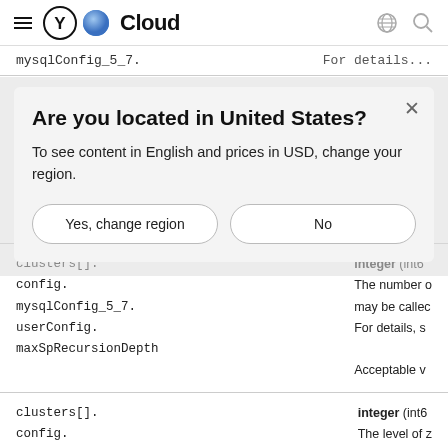[Figure (screenshot): Yandex Cloud navigation bar with hamburger menu, logo (Y Cloud), globe icon, and search icon]
mysqlConfig_5_7.
For details...
Are you located in United States?
To see content in English and prices in USD, change your region.
Yes, change region
No
| Field | Description |
| --- | --- |
| clusters[].
config.
mysqlConfig_5_7.
userConfig.
maxSpRecursionDepth | integer (int6...
The number of...
may be called...
For details, s...

Acceptable v... |
| clusters[].
config. | integer (int6...
The level of z... |